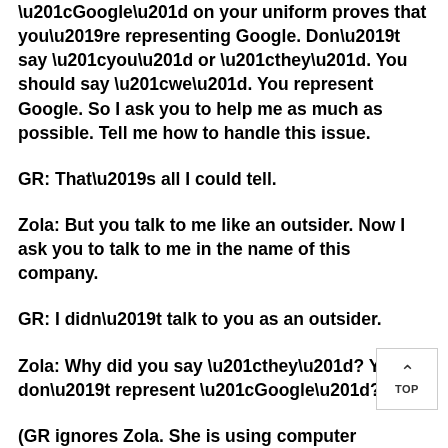“Google” on your uniform proves that you’re representing Google. Don’t say “you” or “they”. You should say “we”. You represent Google. So I ask you to help me as much as possible. Tell me how to handle this issue.
GR: That’s all I could tell.
Zola: But you talk to me like an outsider. Now I ask you to talk to me in the name of this company.
GR: I didn’t talk to you as an outsider.
Zola: Why did you say “they”? You don’t represent “Google”?
(GR ignores Zola. She is using computer